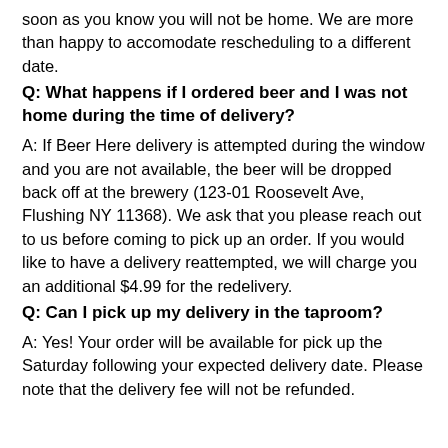soon as you know you will not be home. We are more than happy to accomodate rescheduling to a different date.
Q: What happens if I ordered beer and I was not home during the time of delivery?
A: If Beer Here delivery is attempted during the window and you are not available, the beer will be dropped back off at the brewery (123-01 Roosevelt Ave, Flushing NY 11368). We ask that you please reach out to us before coming to pick up an order. If you would like to have a delivery reattempted, we will charge you an additional $4.99 for the redelivery.
Q: Can I pick up my delivery in the taproom?
A: Yes! Your order will be available for pick up the Saturday following your expected delivery date. Please note that the delivery fee will not be refunded.